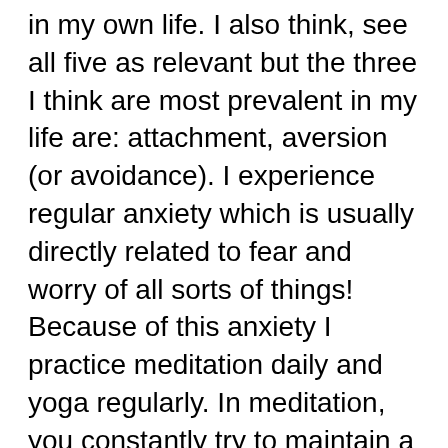in my own life. I also think, see all five as relevant but the three I think are most prevalent in my life are: attachment, aversion (or avoidance). I experience regular anxiety which is usually directly related to fear and worry of all sorts of things! Because of this anxiety I practice meditation daily and yoga regularly. In meditation, you constantly try to maintain a balance between attachment and avoidance. I am attached to the moments in life when I am anxiety free, and I avoid moments of intense anxiety. If you envision the swinging of a pendulum – with the stillness at the bottom center as your opportunity for self-realization, and the swinging from side to side as the push and pull of attachment and aversion, its